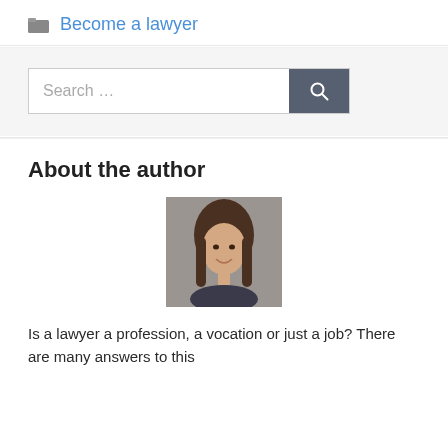Become a lawyer
[Figure (screenshot): Search bar with text 'Search ...' and a dark gray search button with magnifying glass icon]
About the author
[Figure (photo): Headshot of a young woman with long brown hair, smiling, against a gray background]
Is a lawyer a profession, a vocation or just a job? There are many answers to this